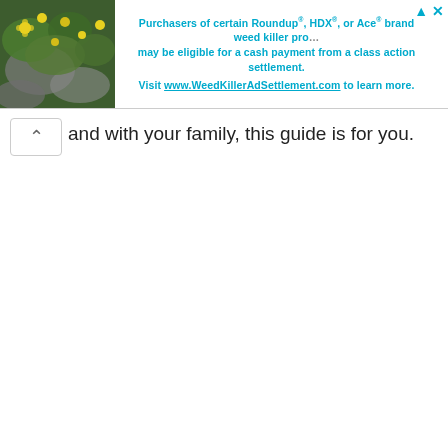[Figure (photo): Advertisement banner with a photo of green plants with yellow dandelion-like flowers on the left, and teal/cyan text on white background on the right promoting a class action settlement for Roundup, HDX, or Ace brand weed killer products.]
and with your family, this guide is for you.